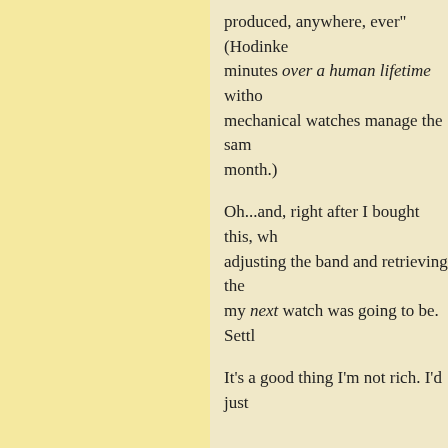produced, anywhere, ever" (Hodinke minutes over a human lifetime witho mechanical watches manage the sam month.)
Oh...and, right after I bought this, wh adjusting the band and retrieving the my next watch was going to be. Sett
It's a good thing I'm not rich. I'd just
*I used to follow common parlance a intensifiers—but then I read a book a disorder on a different level altogeth watch (or camera). Calling it "OCD" fed individual who hasn't stuffed his starving"—something I've also stopp word. I do not think it means what y Montoya.)